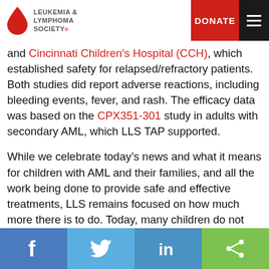Leukemia & Lymphoma Society — DONATE [menu]
and Cincinnati Children's Hospital (CCH), which established safety for relapsed/refractory patients. Both studies did report adverse reactions, including bleeding events, fever, and rash. The efficacy data was based on the CPX351-301 study in adults with secondary AML, which LLS TAP supported.

While we celebrate today's news and what it means for children with AML and their families, and all the work being done to provide safe and effective treatments, LLS remains focused on how much more there is to do. Today, many children do not survive pediatric blood cancer, and survivors are often left with lifelong complications from treatment. When it comes to AML, the five-year survival rate for children younger than 15 years old diagnosed is only 68.7 percent.
Share on Facebook | Share on Twitter | Share on LinkedIn | Share